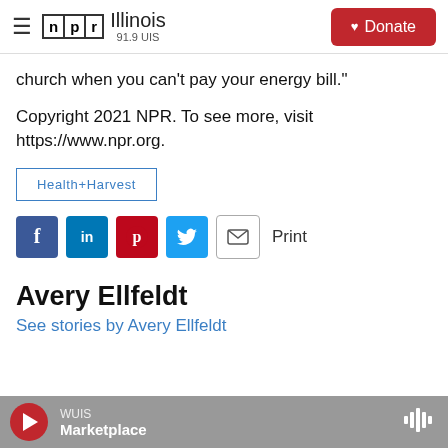NPR Illinois 91.9 UIS
church when you can't pay your energy bill."
Copyright 2021 NPR. To see more, visit https://www.npr.org.
Health+Harvest
[Figure (infographic): Social sharing icons row: Facebook, LinkedIn, Pinterest, Twitter, Email, and Print label]
Avery Ellfeldt
See stories by Avery Ellfeldt
WUIS Marketplace